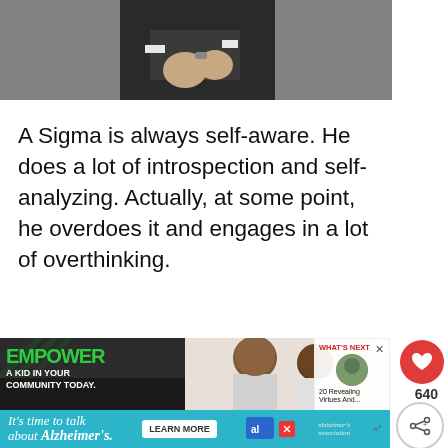[Figure (photo): Partial view of a man in a dark suit, lower torso and hands visible against a grey concrete background]
A Sigma is always self-aware. He does a lot of introspection and self-analyzing. Actually, at some point, he overdoes it and engages in a lot of overthinking.
[Figure (photo): Advertisement showing 'EMPOWER A KID IN YOUR COMMUNITY TODAY.' with green text on black background, and a photo of two people (adult and child) looking at something together]
[Figure (infographic): Alzheimer's Association advertisement: 'It's time to talk about Alzheimer's.' with a LEARN MORE button on a teal/cyan background]
WHAT'S NEXT → 20 Revealing Virtues And...